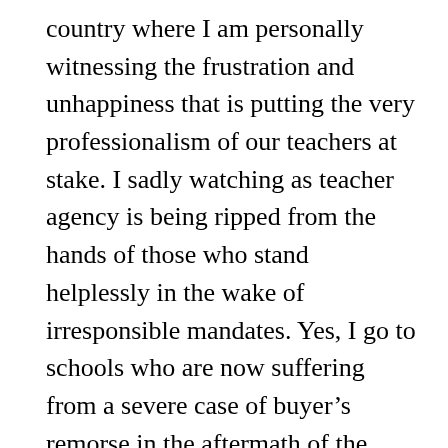country where I am personally witnessing the frustration and unhappiness that is putting the very professionalism of our teachers at stake. I sadly watching as teacher agency is being ripped from the hands of those who stand helplessly in the wake of irresponsible mandates. Yes, I go to schools who are now suffering from a severe case of buyer's remorse in the aftermath of the failure of these quick fixes. I could have told you that would happen if you'd asked. I can't help but wonder why we don't adopt a Buyer Beware mentality before we write that check in the first place? And even if we didn't, why are we more worried about the loss of money when we abandon these failed experiments than we are about the loss of